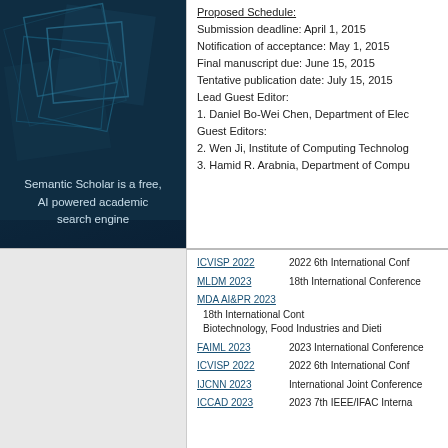[Figure (illustration): Semantic Scholar logo panel with dark blue gradient background and geometric square shapes, text reads 'Semantic Scholar is a free, AI powered academic search engine']
Proposed Schedule:
Submission deadline: April 1, 2015
Notification of acceptance: May 1, 2015
Final manuscript due: June 15, 2015
Tentative publication date: July 15, 2015
Lead Guest Editor:
1. Daniel Bo-Wei Chen, Department of Elec...
Guest Editors:
2. Wen Ji, Institute of Computing Technolog...
3. Hamid R. Arabnia, Department of Compu...
ICVISP 2022   2022 6th International Conf...
MLDM 2023   18th International Conference...
MDA AI&PR 2023   18th International Cont... Biotechnology, Food Industries and Dietet...
FAIML 2023   2023 International Conference...
ICVISP 2022   2022 6th International Conf...
IJCNN 2023   International Joint Conference...
ICCAD 2023   2023 7th IEEE/IFAC Interna...